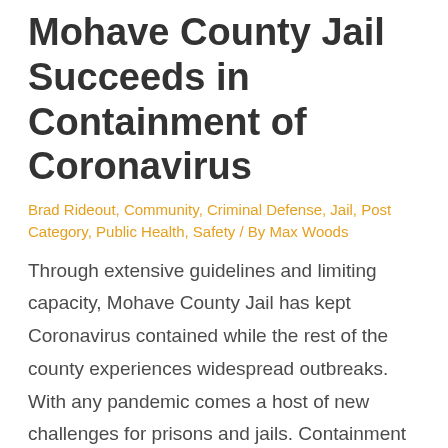Mohave County Jail Succeeds in Containment of Coronavirus
Brad Rideout, Community, Criminal Defense, Jail, Post Category, Public Health, Safety / By Max Woods
Through extensive guidelines and limiting capacity, Mohave County Jail has kept Coronavirus contained while the rest of the county experiences widespread outbreaks. With any pandemic comes a host of new challenges for prisons and jails. Containment of any virus or disease requires thorough guidelines to protect inmates. By lowering capacity, extensive cleaning and sanitation, masks, …